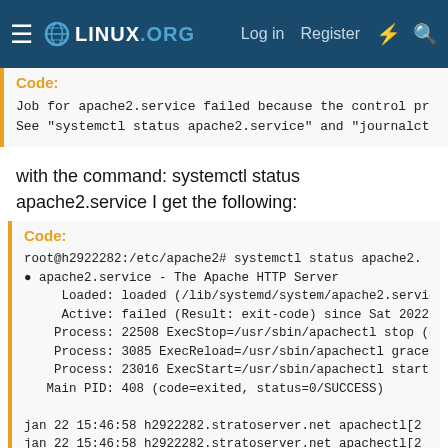LINUX.ORG  Log in  Register
Code:
Job for apache2.service failed because the control pr
See "systemctl status apache2.service" and "journalct
with the command: systemctl status apache2.service I get the following:
Code:
root@h2922282:/etc/apache2# systemctl status apache2.
● apache2.service - The Apache HTTP Server
     Loaded: loaded (/lib/systemd/system/apache2.servic
     Active: failed (Result: exit-code) since Sat 2022-
    Process: 22508 ExecStop=/usr/sbin/apachectl stop (c
    Process: 3085 ExecReload=/usr/sbin/apachectl gracef
    Process: 23016 ExecStart=/usr/sbin/apachectl start
   Main PID: 408 (code=exited, status=0/SUCCESS)

jan 22 15:46:58 h2922282.stratoserver.net apachectl[2
jan 22 15:46:58 h2922282.stratoserver.net apachectl[2
jan 22 15:46:57 h2922282.stratoserver.net systemd[1]: